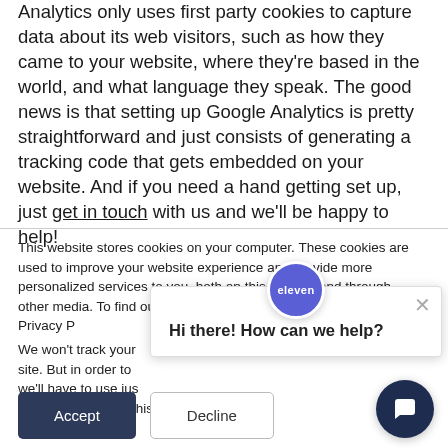Analytics only uses first party cookies to capture data about its web visitors, such as how they came to your website, where they're based in the world, and what language they speak. The good news is that setting up Google Analytics is pretty straightforward and just consists of generating a tracking code that gets embedded on your website. And if you need a hand getting set up, just get in touch with us and we'll be happy to help!
This website stores cookies on your computer. These cookies are used to improve your website experience and provide more personalized services to you, both on this website and through other media. To find out more about the cookies we use, see our Privacy P...
We won't track your... site. But in order to ... we'll have to use jus... not asked to make this choice again.
[Figure (screenshot): Chat widget popup with 'eleven' branded circular badge and greeting text 'Hi there! How can we help?' with close button]
Accept
Decline